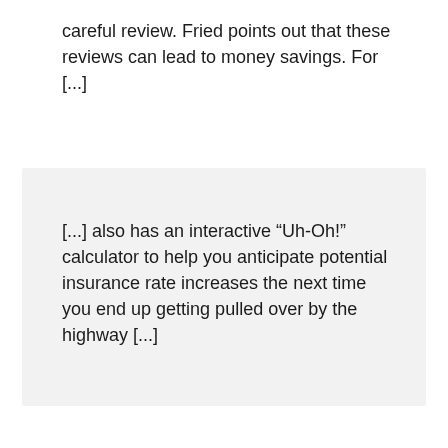careful review. Fried points out that these reviews can lead to money savings. For [...]
[...] also has an interactive “Uh-Oh!” calculator to help you anticipate potential insurance rate increases the next time you end up getting pulled over by the highway [...]